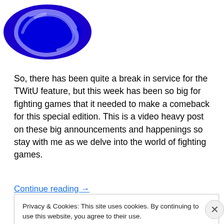[Figure (logo): Blue swirl/spiral logo on white background]
So, there has been quite a break in service for the TWitU feature, but this week has been so big for fighting games that it needed to make a comeback for this special edition. This is a video heavy post on these big announcements and happenings so stay with me as we delve into the world of fighting games.
Continue reading →
Privacy & Cookies: This site uses cookies. By continuing to use this website, you agree to their use.
To find out more, including how to control cookies, see here: Cookie Policy
Close and accept